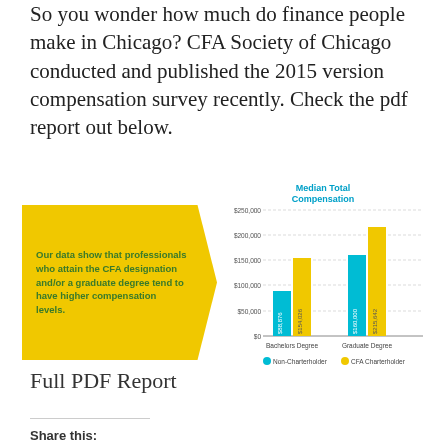So you wonder how much do finance people make in Chicago? CFA Society of Chicago conducted and published the 2015 version compensation survey recently. Check the pdf report out below.
[Figure (grouped-bar-chart): Median Total Compensation]
Our data show that professionals who attain the CFA designation and/or a graduate degree tend to have higher compensation levels.
Full PDF Report
Share this: